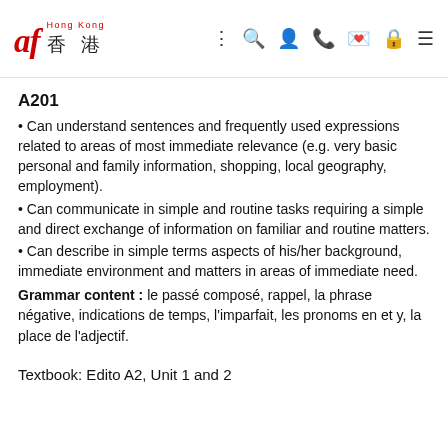af Hong Kong 香 港 [navigation icons]
A201
• Can understand sentences and frequently used expressions related to areas of most immediate relevance (e.g. very basic personal and family information, shopping, local geography, employment).
• Can communicate in simple and routine tasks requiring a simple and direct exchange of information on familiar and routine matters.
• Can describe in simple terms aspects of his/her background, immediate environment and matters in areas of immediate need.
Grammar content : le passé composé, rappel, la phrase négative, indications de temps, l'imparfait, les pronoms en et y, la place de l'adjectif.
Textbook: Edito A2, Unit 1 and 2